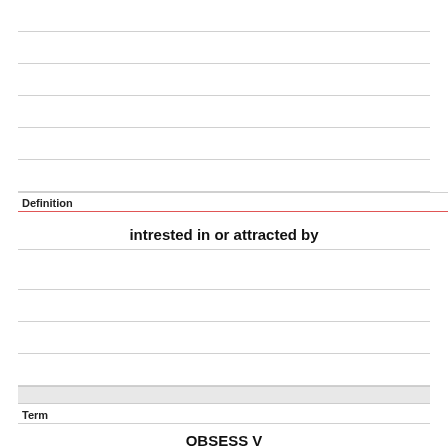Definition
intrested in or attracted by
Term
OBSESS V